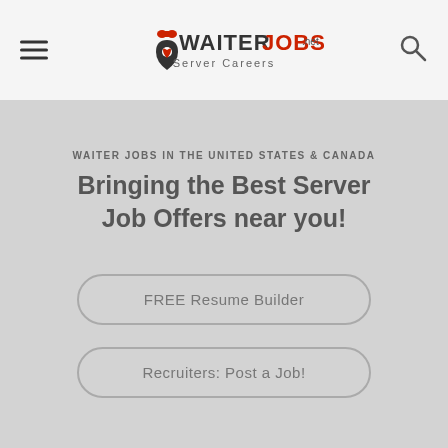[Figure (logo): WaiterJobs.net Server Careers logo with red bowtie and map pin icon]
WAITER JOBS IN THE UNITED STATES & CANADA
Bringing the Best Server Job Offers near you!
FREE Resume Builder
Recruiters: Post a Job!